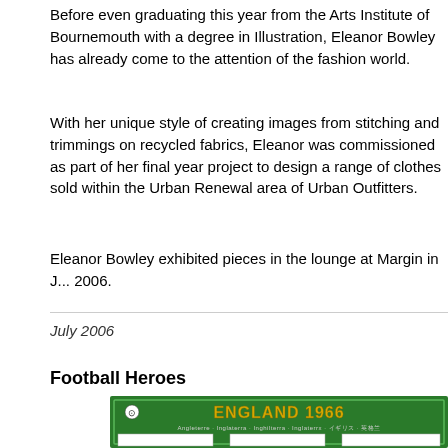Before even graduating this year from the Arts Institute of Bournemouth with a degree in Illustration, Eleanor Bowley has already come to the attention of the fashion world.
With her unique style of creating images from stitching and trimmings on recycled fabrics, Eleanor was commissioned as part of her final year project to design a range of clothes sold within the Urban Renewal area of Urban Outfitters.
Eleanor Bowley exhibited pieces in the lounge at Margin in J... 2006.
July 2006
Football Heroes
[Figure (illustration): England 1966 football card showing cartoon illustrations of three players in red shirts against a green background, with the text 'ENGLAND 1966' in gold lettering at the top.]